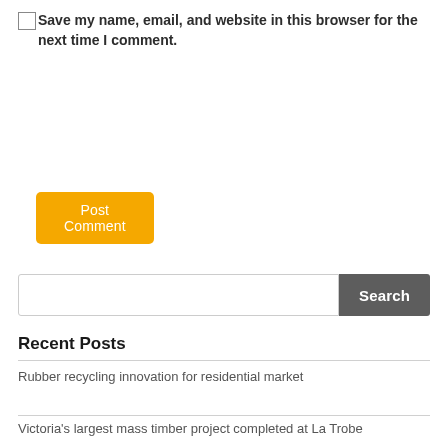Save my name, email, and website in this browser for the next time I comment.
Post Comment
Search
Recent Posts
Rubber recycling innovation for residential market
Victoria's largest mass timber project completed at La Trobe